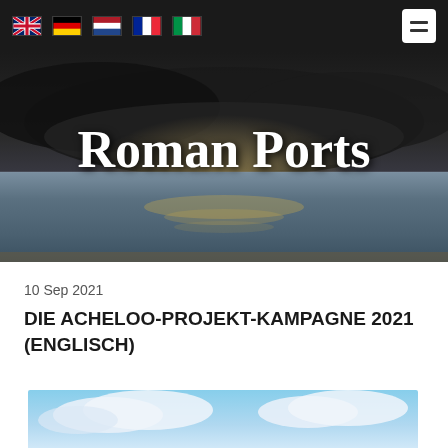[Figure (screenshot): Navigation bar with language flags (UK, Germany, Netherlands, France, Italy) and hamburger menu icon on dark background]
[Figure (photo): Roman Ports website hero banner — dramatic seascape with dark stormy clouds above calm reflective ocean water, with 'Roman Ports' text overlay in large serif white font]
10 Sep 2021
DIE ACHELOO-PROJEKT-KAMPAGNE 2021 (ENGLISCH)
[Figure (photo): Bottom strip of a photo showing blue sky with clouds, partially visible]